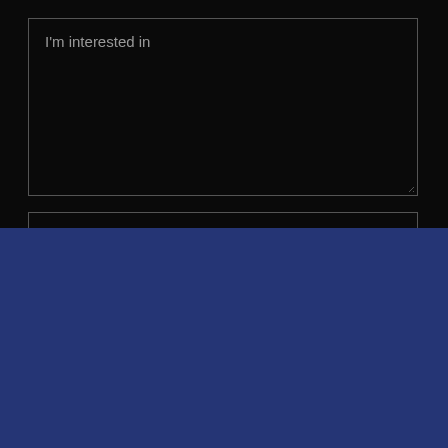[Figure (screenshot): Dark-themed textarea input field with placeholder text 'I'm interested in' and a resize handle at the bottom-right corner, plus a partial second input field below]
This website uses cookies.
We use cookies to analyze website traffic and optimize your website experience. By accepting our use of cookies, your data will be aggregated with all other user data.
ACCEPT